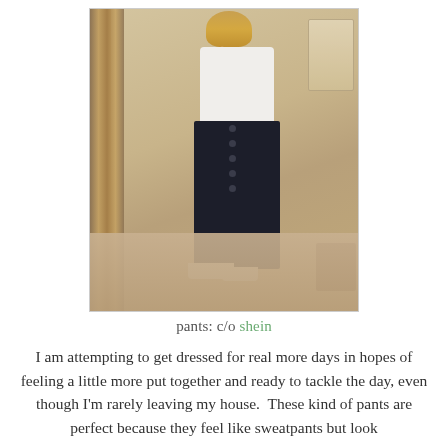[Figure (photo): A woman taking a mirror selfie wearing a white tank top, dark navy high-waisted button-fly pants, and light-colored shoes, standing in a room with a decorative mirror frame visible on the left.]
pants: c/o shein
I am attempting to get dressed for real more days in hopes of feeling a little more put together and ready to tackle the day, even though I'm rarely leaving my house.  These kind of pants are perfect because they feel like sweatpants but look